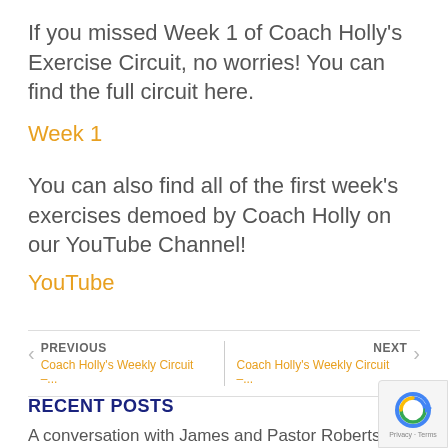If you missed Week 1 of Coach Holly's Exercise Circuit, no worries! You can find the full circuit here.
Week 1
You can also find all of the first week's exercises demoed by Coach Holly on our YouTube Channel!
YouTube
PREVIOUS: Coach Holly's Weekly Circuit –... | NEXT: Coach Holly's Weekly Circuit –...
RECENT POSTS
A conversation with James and Pastor Roberts (Part